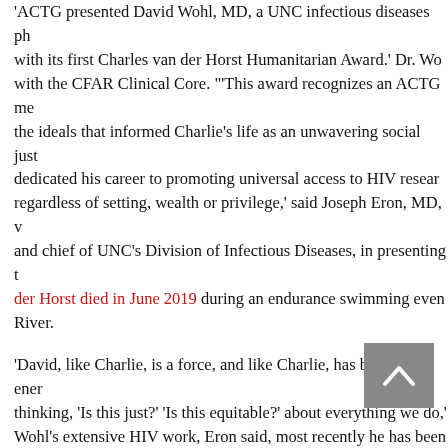'ACTG presented David Wohl, MD, a UNC infectious diseases physician, with its first Charles van der Horst Humanitarian Award.' Dr. Wohl works with the CFAR Clinical Core. "'This award recognizes an ACTG member who embodies the ideals that informed Charlie's life as an unwavering social justice advocate who dedicated his career to promoting universal access to HIV research and treatment regardless of setting, wealth or privilege,' said Joseph Eron, MD, who is professor and chief of UNC's Division of Infectious Diseases, in presenting the award. Van der Horst died in June 2019 during an endurance swimming event in the Haw River.
'David, like Charlie, is a force, and like Charlie, has boundless energy for always thinking, 'Is this just?' 'Is this equitable?' about everything we do,' Eron said. Of Wohl's extensive HIV work, Eron said, most recently he has been leading an NC Covid response with initiatives that include taking testing out to communities that have been hit hard by the SARS-Co-2 virus. 'His leadership in integrating equity into our studies has been masterful. His ability to incorporate people and communities has been very Charlie like.'